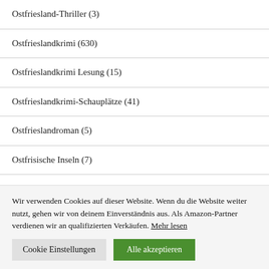Ostfriesland-Thriller (3)
Ostfrieslandkrimi (630)
Ostfrieslandkrimi Lesung (15)
Ostfrieslandkrimi-Schauplätze (41)
Ostfrieslandroman (5)
Ostfrisische Inseln (7)
Wir verwenden Cookies auf dieser Website. Wenn du die Website weiter nutzt, gehen wir von deinem Einverständnis aus. Als Amazon-Partner verdienen wir an qualifizierten Verkäufen. Mehr lesen
Cookie Einstellungen | Alle akzeptieren